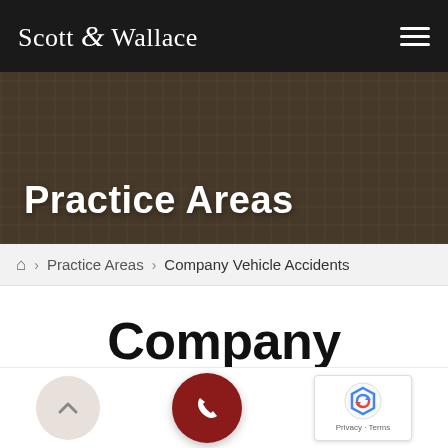Scott & Wallace
[Figure (photo): Background photo of classical stone building facade with arched windows, overlaid with dark semi-transparent tint]
Practice Areas
Home > Practice Areas > Company Vehicle Accidents
Company Vehicle Accidents
[Figure (other): Scroll-to-top button (upward chevron on beige circle), phone call button (phone icon on dark red circle), and reCAPTCHA badge]